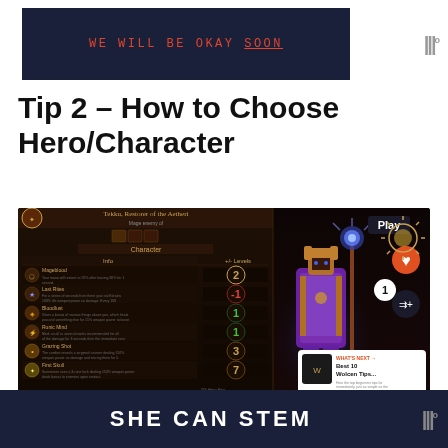[Figure (screenshot): Banner advertisement with dark navy background showing text 'WE WILL BE OKAY SOON' in red monospace font with 'SOON' underlined, and Mediavine logo at right]
Tip 2 – How to Choose Hero/Character
[Figure (screenshot): Game screenshot showing character selection screen for 'Tekku, Restorer of the Aetheri' with skills list, numbers 2, -1, 1, 1, 3, 7, a purple hero character holding a staff, Play button, heart/like button, share button, count badge showing 1, and 'What's Next: Best 10 Wolcen Tips...' overlay]
[Figure (logo): SHE CAN STEM logo in white bold text on dark navy background with Mediavine logo at right]